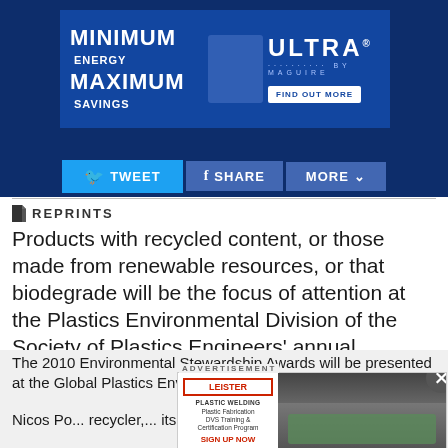[Figure (photo): Banner advertisement: MINIMUM ENERGY MAXIMUM SAVINGS — ULTRA BY MAGUIRE. FIND OUT MORE button. Dark blue background with product imagery.]
[Figure (screenshot): Social sharing bar with TWEET, SHARE, and MORE buttons on dark blue background.]
REPRINTS
Products with recycled content, or those made from renewable resources, or that biodegrade will be the focus of attention at the Plastics Environmental Division of the Society of Plastics Engineers' annual conference.
The 2010 Environmental Stewardship Awards will be presented at the Global Plastics Environmental Conference.
Nicos Po... recycler,... its
[Figure (photo): Advertisement overlay: LEISTER PLASTIC WELDING — Plastic Fabrication DVS Training & Certification Program SIGN UP NOW. Photo of person using welding equipment.]